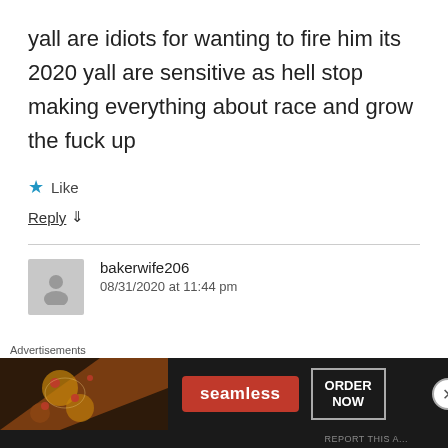yall are idiots for wanting to fire him its 2020 yall are sensitive as hell stop making everything about race and grow the fuck up
★ Like
Reply ↓
bakerwife206
08/31/2020 at 11:44 pm
[Figure (screenshot): Seamless food delivery advertisement banner with pizza image, red Seamless logo, and ORDER NOW button]
Advertisements